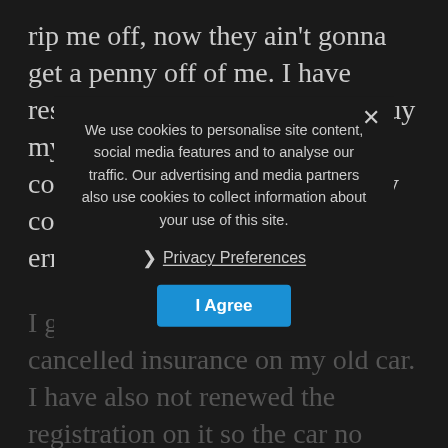rip me off, now they ain't gonna get a penny off of me. I have responded in kind and went to buy myself a quality mountain bike I could use every day for all of my commutes as well as day to day errands.
I got back to Morgex and cancelled insurance on my old car. I have also not renewed the registration on it so the car no longer had legal papers. The inability to drive it didn't bother me – I had a bike now that got me around everywhere I needed and saved me up big time and did something for environment and my health. I fe[lt good about the] way it played out. They all wanted [to convince] me but I didn't let them. I did what was best for me and I've never
We use cookies to personalise site content, social media features and to analyse our traffic. Our advertising and media partners also use cookies to collect information about your use of this site.
Privacy Preferences
I Agree